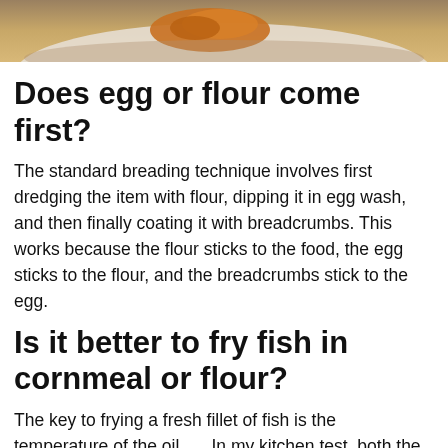[Figure (photo): Close-up photo of breaded/fried food on a plate, partially cropped at top of page]
Does egg or flour come first?
The standard breading technique involves first dredging the item with flour, dipping it in egg wash, and then finally coating it with breadcrumbs. This works because the flour sticks to the food, the egg sticks to the flour, and the breadcrumbs stick to the egg.
Is it better to fry fish in cornmeal or flour?
The key to frying a fresh fillet of fish is the temperature of the oil. … In my kitchen test, both the corn meal and flour came out